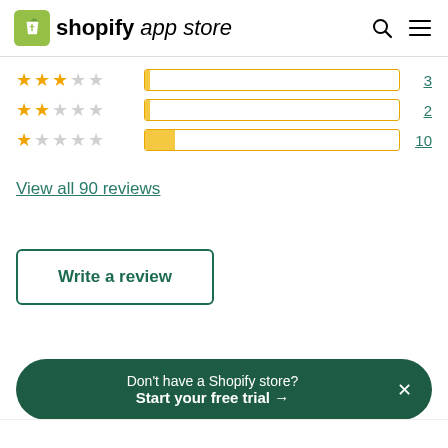shopify app store
[Figure (bar-chart): Rating distribution]
View all 90 reviews
Write a review
Don't have a Shopify store? Start your free trial →